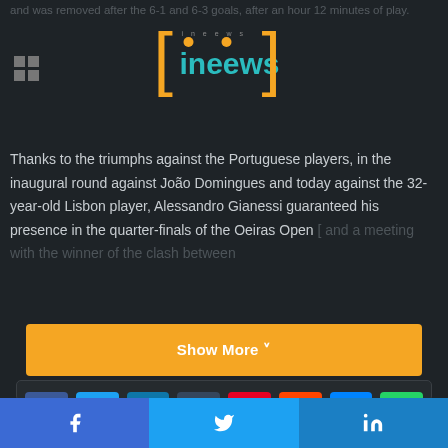ineews logo and navigation
and was removed after the 6-1 and 6-3 goals, after an hour 12 minutes of play.
Thanks to the triumphs against the Portuguese players, in the inaugural round against João Domingues and today against the 32-year-old Lisbon player, Alessandro Gianessi guaranteed his presence in the quarter-finals of the Oeiras Open [ and a meeting with the winner of the clash between
Show More ˅
[Figure (screenshot): Social media share buttons: Facebook, Twitter, LinkedIn, Tumblr, Pinterest, Reddit, Messenger, WhatsApp, Email, Print]
Facebook Twitter LinkedIn social share bar